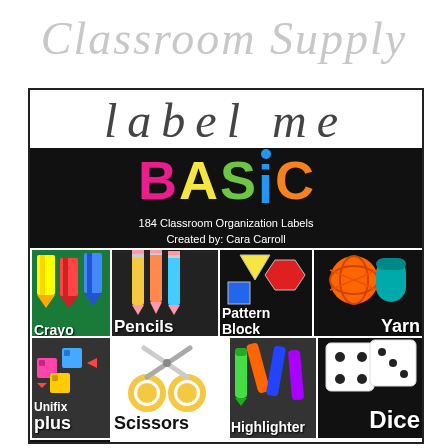Classroom Supply
[Figure (illustration): Product cover image for 'Classroom Supply Label Me Basic' - a set of 184 classroom organization labels created by Cara Carroll. Shows colorful label cards with images of classroom supplies: Crayons, Pencils, Pattern Block, Yarn, Unifix Plus, Scissors, Highlighter, Dice, Marker, Button, Pointers. Includes a set of EDITABLE labels.]